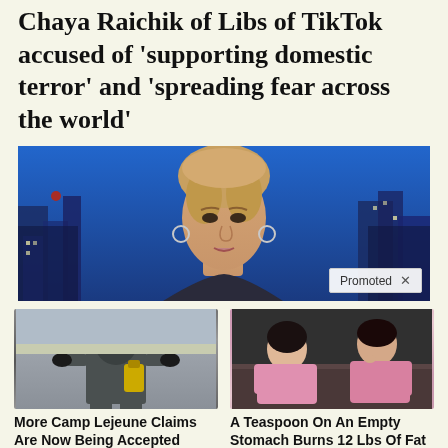Chaya Raichik of Libs of TikTok accused of 'supporting domestic terror' and 'spreading fear across the world'
[Figure (photo): News anchor woman with blonde hair speaking on set with blue city skyline background; 'Promoted X' badge in bottom right corner]
[Figure (photo): Person in hazmat suit with gas mask and yellow canister]
More Camp Lejeune Claims Are Now Being Accepted
🔥 1,055
[Figure (photo): Two women in pink pajamas sitting on a couch]
A Teaspoon On An Empty Stomach Burns 12 Lbs Of Fat A Week Safely!
🔥 5,698